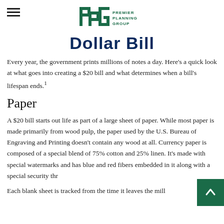[Figure (logo): Premier Planning Group logo with PPG letters and text 'PREMIER PLANNING GROUP']
Dollar Bill
Every year, the government prints millions of notes a day. Here's a quick look at what goes into creating a $20 bill and what determines when a bill's lifespan ends.¹
Paper
A $20 bill starts out life as part of a large sheet of paper. While most paper is made primarily from wood pulp, the paper used by the U.S. Bureau of Engraving and Printing doesn't contain any wood at all. Currency paper is composed of a special blend of 75% cotton and 25% linen. It's made with special watermarks and has blue and red fibers embedded in it along with a special security thr
Each blank sheet is tracked from the time it leaves the mill